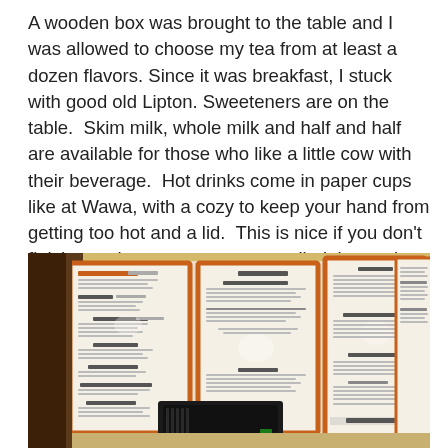A wooden box was brought to the table and I was allowed to choose my tea from at least a dozen flavors. Since it was breakfast, I stuck with good old Lipton. Sweeteners are on the table.  Skim milk, whole milk and half and half are available for those who like a little cow with their beverage.  Hot drinks come in paper cups like at Wawa, with a cozy to keep your hand from getting too hot and a lid.  This is nice if you don't finish your beverage; you can walk right out the door with it.  Mediums are $1.85.
[Figure (photo): Photo of a restaurant menu board on the wall, showing multiple framed menu panels with orange borders listing food and drink items including Espresso Bar, Tea, Smoothies, and other categories. A black piece of equipment is visible in the foreground.]